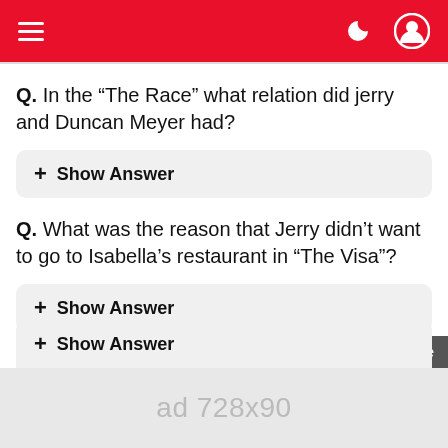[Figure (screenshot): Red navigation header bar with hamburger menu icon on left, moon/dark-mode icon and user profile icon on right]
Q. In the “The Race” what relation did jerry and Duncan Meyer had?
+ Show Answer
Q. What was the reason that Jerry didn’t want to go to Isabella’s restaurant in “The Visa”?
+ Show Answer
Q. Which day of the week it is when Jerry takes over Newman’s mail route?
ad 728x90